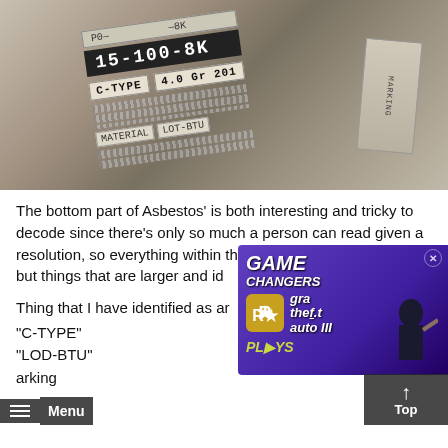[Figure (photo): Close-up photo of stacked papers or labels showing text including 'C-TYPE', '15-100', '4.0 Gr 201', and other partial text markings on what appears to be a document or package label]
The bottom part of Asbestos' is both interesting and tricky to decode since there's only so much a person can read given a resolution, so everything within the design can't be covered but things that are larger and id
Thing that I have identified as ar
"C-TYPE"
"LOD-BTU"
arking
[Figure (screenshot): Advertisement overlay for 'Game Changers' featuring Grand Theft Auto III with Rockstar Games logo and a character illustration on purple background. Shows 'PLAYS' branding and an up arrow Top button.]